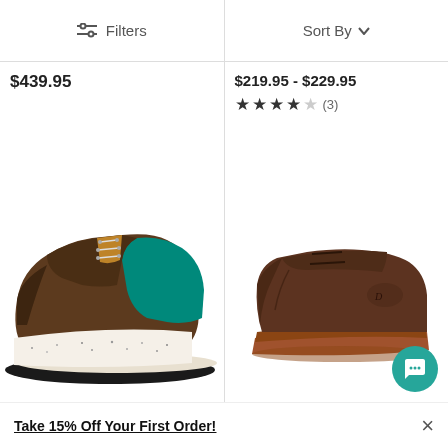Filters  Sort By
$439.95
$219.95 - $229.95  ★★★★☆ (3)
[Figure (photo): Brown and teal/green hiking boot with speckled white sole, lace-up style]
[Figure (photo): Brown leather chukka boot with lace-up design and tan rubber sole]
Take 15% Off Your First Order!